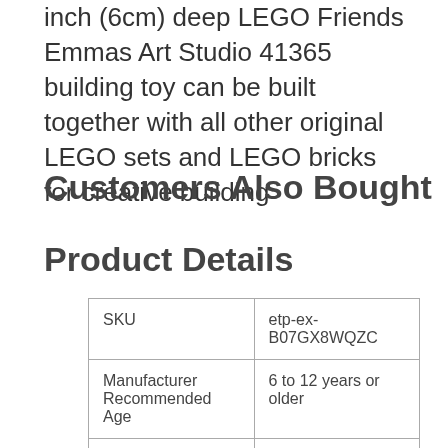inch (6cm) deep LEGO Friends Emmas Art Studio 41365 building toy can be built together with all other original LEGO sets and LEGO bricks for creative building
Customers Also Bought
Product Details
| SKU | etp-ex-B07GX8WQZC |
| Manufacturer Recommended Age | 6 to 12 years or older |
| Brand | Lego |
| Quantity Available in Stock | 40 |